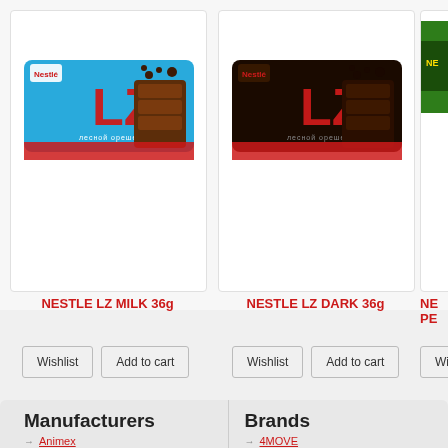[Figure (photo): Nestle LZ Milk chocolate bar product image on blue background]
[Figure (photo): Nestle LZ Dark chocolate bar product image on dark background]
[Figure (photo): Partially visible Nestle product image (cropped on right edge)]
NESTLE LZ MILK 36g
NESTLE LZ DARK 36g
NE... PE...
Manufacturers
Brands
Animex
AST Popcorn
Balconi
Barilla
Bioset
4MOVE
7 Days
After Eight
Airwaves
Always